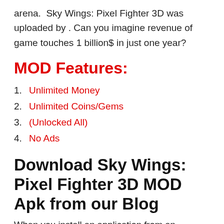arena.  Sky Wings: Pixel Fighter 3D was uploaded by . Can you imagine revenue of game touches 1 billion$ in just one year?
MOD Features:
Unlimited Money
Unlimited Coins/Gems
(Unlocked All)
No Ads
Download Sky Wings: Pixel Fighter 3D MOD Apk from our Blog
When you install an application from an unknown source, you are putting your device in high risk. By clicking the application to install